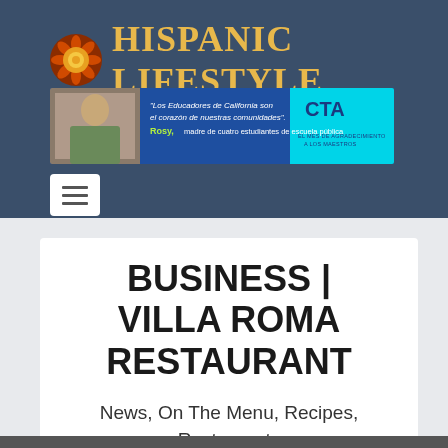[Figure (logo): Hispanic Lifestyle logo with decorative sun/mandala icon and yellow bold serif text on dark blue header background]
[Figure (infographic): CTA advertisement banner in blue and cyan: 'Los Educadores de California son el corazon de nuestras comunidades' with woman photo and CTA logo]
BUSINESS | VILLA ROMA RESTAURANT
News, On The Menu, Recipes, Restaurants